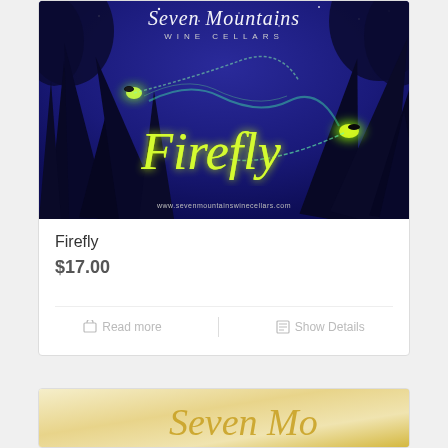[Figure (illustration): Wine bottle label for Seven Mountains Wine Cellars 'Firefly' wine. Dark blue/indigo night sky background with silhouetted grass blades, glowing fireflies with yellow-green trails, and decorative script text. Winery name at top in white serif/italic font, 'Firefly' in large glowing yellow-green italic script in center, website URL at bottom.]
Firefly
$17.00
Read more
Show Details
[Figure (illustration): Partial view of a second wine product card showing a gold/cream colored wine label with decorative cursive script text, only partially visible at bottom of page.]